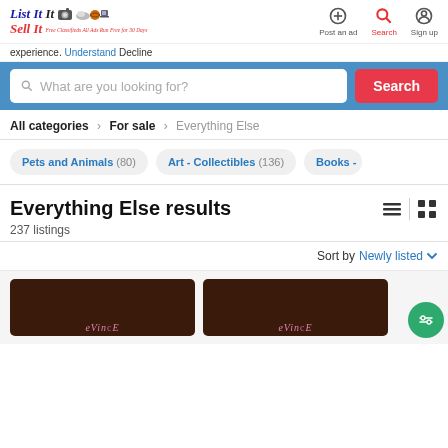List It Sell It — Free Classifieds All Ads Run Free for 30 Days | Post an ad | Search | Sign up
experience. Understand Decline
What are you looking for? Search
All categories > For sale > Everything Else
Pets and Animals (80)
Art - Collectibles (136)
Books -
Everything Else results
237 listings
Sort by Newly listed
[Figure (screenshot): Two product listing thumbnails with dark brown/maroon background and pink 'eVince' logo text, partially visible at bottom of page. A green circular filter/settings FAB button overlays the bottom right.]